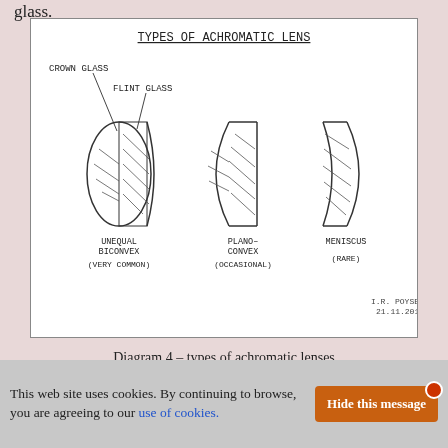glass.
[Figure (engineering-diagram): Hand-drawn diagram titled 'TYPES OF ACHROMATIC LENS' showing three types: UNEQUAL BICONVEX (VERY COMMON), PLANO-CONVEX (OCCASIONAL), and MENISCUS (RARE). Labels show CROWN GLASS and FLINT GLASS components. Signed I.R. Poyser, 21.11.2012.]
Diagram 4 – types of achromatic lenses
For the sake of simplicity it is best to make the relay lens system of two identical lenses. When you use a pair of identical lenses to make the
This web site uses cookies. By continuing to browse, you are agreeing to our use of cookies.